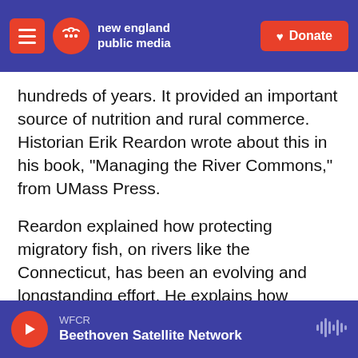new england public media | Donate
hundreds of years. It provided an important source of nutrition and rural commerce. Historian Erik Reardon wrote about this in his book, "Managing the River Commons," from UMass Press.
Reardon explained how protecting migratory fish, on rivers like the Connecticut, has been an evolving and longstanding effort. He explains how fishing regulations were measured.
Erik Reardon, author: Hard, quantitative evidence is often hard to come by for the Colonial period. It's really not until the 19th century that we have a
WFCR | Beethoven Satellite Network